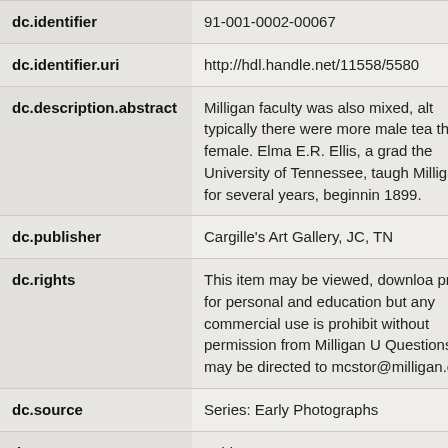| Field | Value |
| --- | --- |
| dc.identifier | 91-001-0002-00067 |
| dc.identifier.uri | http://hdl.handle.net/11558/5580 |
| dc.description.abstract | Milligan faculty was also mixed, alt typically there were more male tea than female. Elma E.R. Ellis, a grad the University of Tennessee, taugh Milligan for several years, beginnin 1899. |
| dc.publisher | Cargille's Art Gallery, JC, TN |
| dc.rights | This item may be viewed, downloa printed for personal and education but any commercial use is prohibit without permission from Milligan U Questions may be directed to mcstor@milligan.edu. |
| dc.source | Series: Early Photographs |
| dc.source | Folder: 1901-1910C |